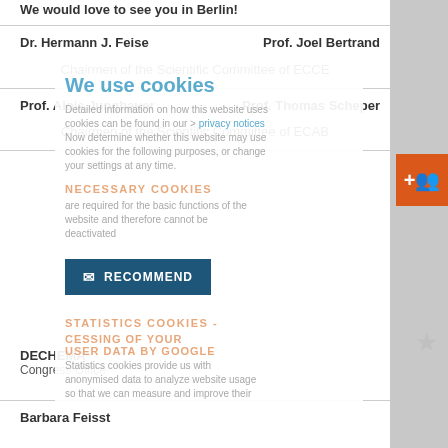We would love to see you in Berlin!
Dr. Hermann J. Feise	Prof. Joel Bertrand
Chairmen of the Scientific Committee of ECCE
Prof. Alois Jungbauer	Prof. Thomas Scheper
Chairmen of the Scientific Committee of ECAB
DECHEMA
Congress Office
Barbara Feisst
[Figure (screenshot): Cookie consent overlay panel with 'We use cookies' heading in teal, cookie information text, NECESSARY COOKIES section, RECOMMEND button in dark blue, STATISTICS COOKIES section, and PROCESSING OF YOUR USER DATA BY GOOGLE section with statistics text. Orange '+people' button in top right corner. Star icon on right side.]